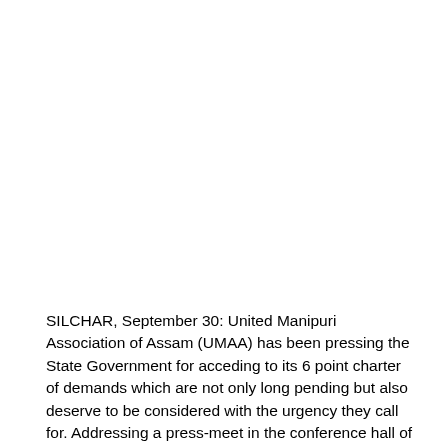SILCHAR, September 30: United Manipuri Association of Assam (UMAA) has been pressing the State Government for acceding to its 6 point charter of demands which are not only long pending but also deserve to be considered with the urgency they call for. Addressing a press-meet in the conference hall of Manipuri Development Council here today, Jiten Singha, chief advisor of the